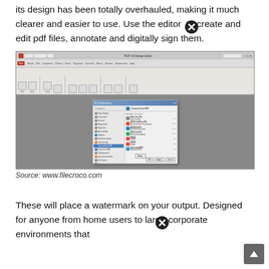its design has been totally overhauled, making it much clearer and easier to use. Use the editor to create and edit pdf files, annotate and digitally sign them.
[Figure (screenshot): Screenshot of PDF-XChange Editor showing the application ribbon interface and a Preferences dialog box open to 'Convert from PDF' category, listing conversion options including Plain Text File, MS PowerPoint File, MS Word File, MS Excel File, PDF/A, PDF/E, Optimized PDF.]
Source: www.filecroco.com
These will place a watermark on your output. Designed for anyone from home users to large corporate environments that